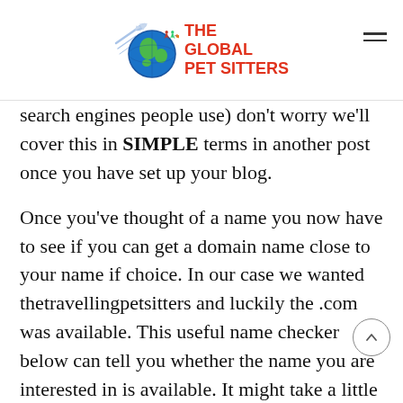THE GLOBAL PET SITTERS
search engines people use) don't worry we'll cover this in SIMPLE terms in another post once you have set up your blog.
Once you've thought of a name you now have to see if you can get a domain name close to your name if choice. In our case we wanted thetravellingpetsitters and luckily the .com was available. This useful name checker below can tell you whether the name you are interested in is available. It might take a little bit of time